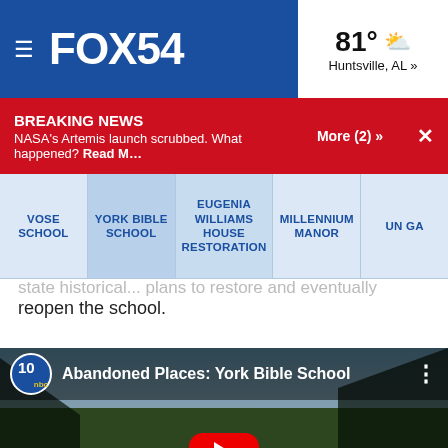FOX54 — 81° Huntsville, AL »
BREAKING NEWS
NASA's Artemis launch scrubbed. What happened? Read M…
More (2) »
VOSE SCHOOL | YORK BIBLE SCHOOL | EUGENIA WILLIAMS HOUSE RESTORATION | MILLENNIUM MANOR | UN GA
reopen the school.
[Figure (screenshot): YouTube video thumbnail showing a stone church building in a wooded field with YouTube play button overlay. Channel 10 NBC logo shown. Title: 'Abandoned Places: York Bible School']